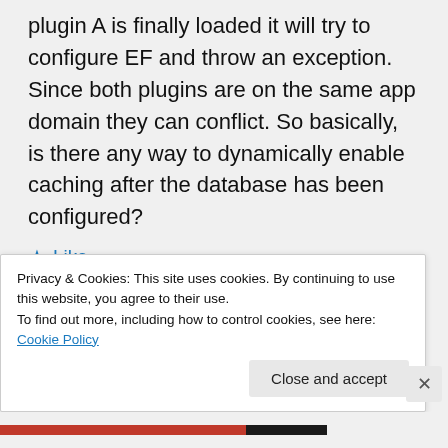plugin A is finally loaded it will try to configure EF and throw an exception. Since both plugins are on the same app domain they can conflict. So basically, is there any way to dynamically enable caching after the database has been configured?
Like
Reply
Privacy & Cookies: This site uses cookies. By continuing to use this website, you agree to their use.
To find out more, including how to control cookies, see here: Cookie Policy
Close and accept